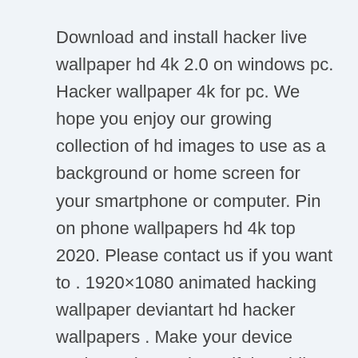Download and install hacker live wallpaper hd 4k 2.0 on windows pc. Hacker wallpaper 4k for pc. We hope you enjoy our growing collection of hd images to use as a background or home screen for your smartphone or computer. Pin on phone wallpapers hd 4k top 2020. Please contact us if you want to . 1920×1080 animated hacking wallpaper deviantart hd hacker wallpapers . Make your device cooler and more beautiful. Mobile walls art images avatars gifs discussions · 4k . Hacker live wallpaper is loved by many people, the hacker photos 's niceone interesting. 87 computer hacking wallpapers images in full hd, 2k and 4k sizes. Enjoy our curated selection of 82 hacker wallpapers and backgrounds. How to install hacker live wallpaper app on windows pc & macbook ·